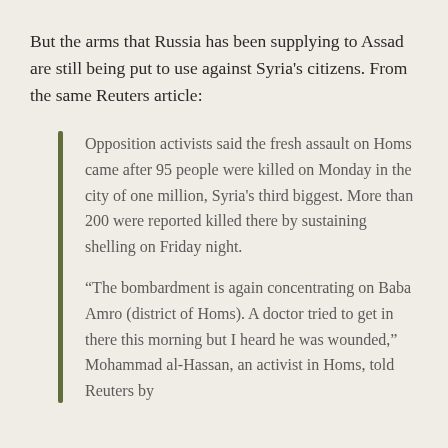But the arms that Russia has been supplying to Assad are still being put to use against Syria's citizens. From the same Reuters article:
Opposition activists said the fresh assault on Homs came after 95 people were killed on Monday in the city of one million, Syria's third biggest. More than 200 were reported killed there by sustaining shelling on Friday night.
“The bombardment is again concentrating on Baba Amro (district of Homs). A doctor tried to get in there this morning but I heard he was wounded,” Mohammad al-Hassan, an activist in Homs, told Reuters by